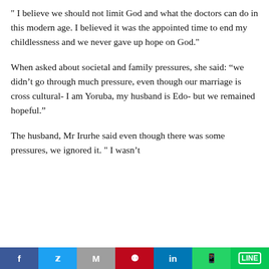" I believe we should not limit God and what the doctors can do in this modern age. I believed it was the appointed time to end my childlessness and we never gave up hope on God."
When asked about societal and family pressures, she said: “we didn’t go through much pressure, even though our marriage is cross cultural- I am Yoruba, my husband is Edo- but we remained hopeful.”
The husband, Mr Irurhe said even though there was some pressures, we ignored it. " I wasn’t